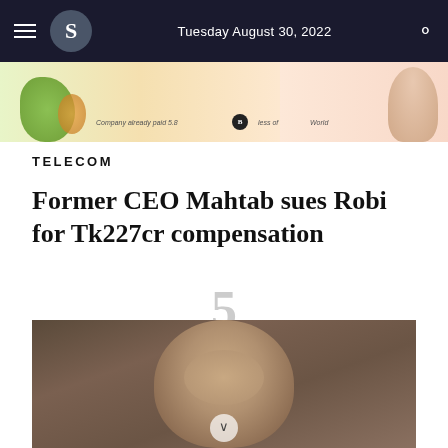S  Tuesday August 30, 2022
[Figure (infographic): Banner image showing an infographic with colorful vegetables and text 'Company already paid 5.8' with logos and partial figures]
TELECOM
Former CEO Mahtab sues Robi for Tk227cr compensation
5
[Figure (photo): Photo of a man looking downward, dark background, appears to be a middle-aged man with short hair]